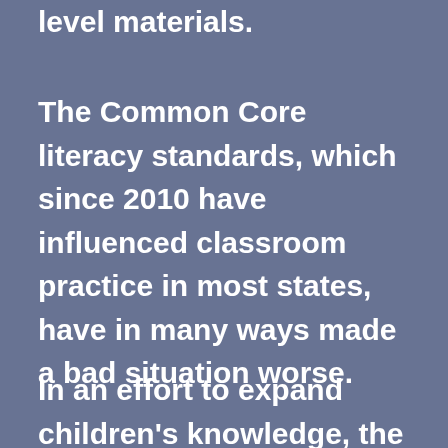level materials.
The Common Core literacy standards, which since 2010 have influenced classroom practice in most states, have in many ways made a bad situation worse.
In an effort to expand children's knowledge, the